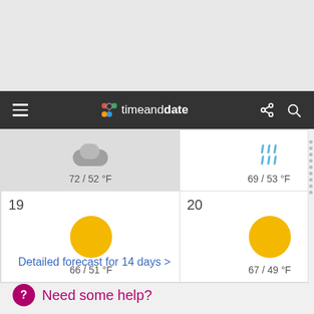[Figure (screenshot): Top gray area of a web page before navigation bar]
timeanddate navigation bar with hamburger menu, logo, share and search icons
| Day 16/17 | Day 15 | Day 16 | Day 17 |
| --- | --- | --- | --- |
| 72 / 52 °F | 69 / 53 °F | 64 / 57 °F | 62 / 54 °F |
| 19 - 66 / 51 °F | 20 - 67 / 49 °F | 21 | 22 |
Detailed forecast for 14 days >
Need some help?